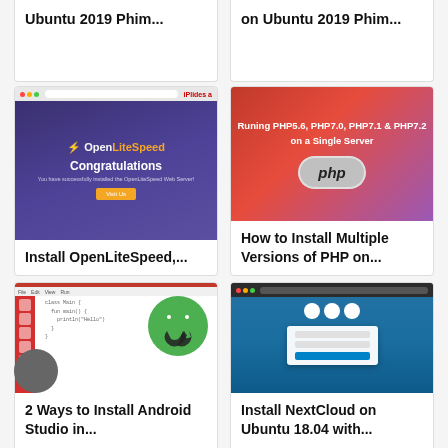[Figure (screenshot): Partial card top-left: Ubuntu article thumbnail with bold title text (truncated)]
Ubuntu 2019 Phim...
[Figure (screenshot): Partial card top-right: Ubuntu 2019 Phim article thumbnail (truncated)]
on Ubuntu 2019 Phim...
[Figure (screenshot): OpenLiteSpeed congratulations screen shown in browser]
Install OpenLiteSpeed,...
[Figure (screenshot): Red gradient background with PHP logo and text: Runing PHP5.6, PHP7.0, PHP7.1 & PHP7.2 on a Single Server]
How to Install Multiple Versions of PHP on...
[Figure (screenshot): Android Studio IDE with Android logo overlay]
2 Ways to Install Android Studio in...
[Figure (screenshot): NextCloud login screen in browser on blue background]
Install NextCloud on Ubuntu 18.04 with...